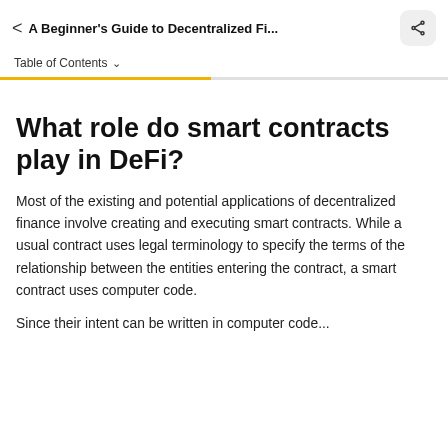< A Beginner's Guide to Decentralized Fi...
Table of Contents ▾
What role do smart contracts play in DeFi?
Most of the existing and potential applications of decentralized finance involve creating and executing smart contracts. While a usual contract uses legal terminology to specify the terms of the relationship between the entities entering the contract, a smart contract uses computer code.
Since their intent can be written in computer code...